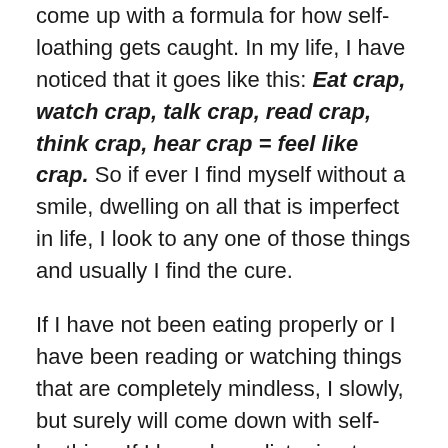come up with a formula for how self-loathing gets caught. In my life, I have noticed that it goes like this: Eat crap, watch crap, talk crap, read crap, think crap, hear crap = feel like crap. So if ever I find myself without a smile, dwelling on all that is imperfect in life, I look to any one of those things and usually I find the cure.
If I have not been eating properly or I have been reading or watching things that are completely mindless, I slowly, but surely will come down with self-loathing. If I have been listening to people talk about other people or have been talking negatively about myself or others I also catch it.
To keep my positivity and joy, I make sure that I remember to be mindful of what I eat, say, think and do. I keep quotes around my house to inspire me and read inspiring, uplifting things. I make sure to surround myself with energy givers instead of energy drainers. I get outside as